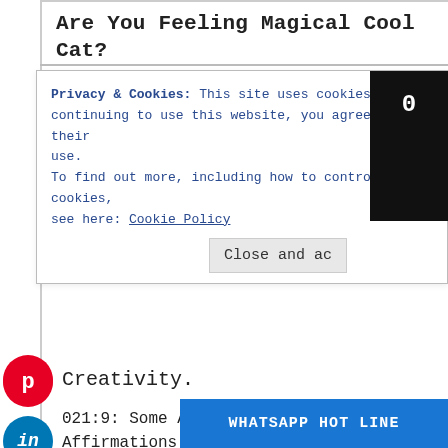Are You Feeling Magical Cool Cat?
Privacy & Cookies: This site uses cookies. By continuing to use this website, you agree to their use.
To find out more, including how to control cookies, see here: Cookie Policy
Close and ac
0
Creativity.
021:9: Some African Girl Magical Affirmations to kick away the #Lockdown lues
#ENDSARS – #END POLICE BRUTALITY IN NIGERIA
CATFACE WORLDWIDE COM COOL CAT SPECIAL
WHATSAPP HOT LINE